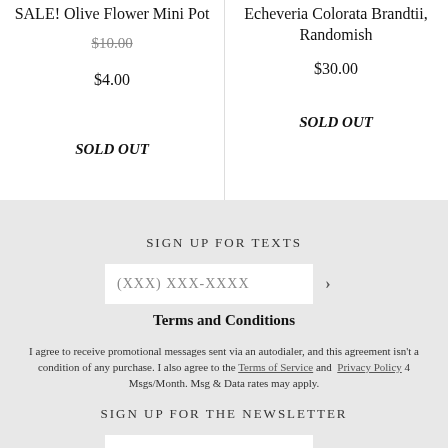SALE! Olive Flower Mini Pot
$10.00 (strikethrough)
$4.00
SOLD OUT
Echeveria Colorata Brandtii, Randomish
$30.00
SOLD OUT
SIGN UP FOR TEXTS
(XXX) XXX-XXXX
Terms and Conditions
I agree to receive promotional messages sent via an autodialer, and this agreement isn't a condition of any purchase. I also agree to the Terms of Service and  Privacy Policy 4 Msgs/Month. Msg & Data rates may apply.
SIGN UP FOR THE NEWSLETTER
Enter email